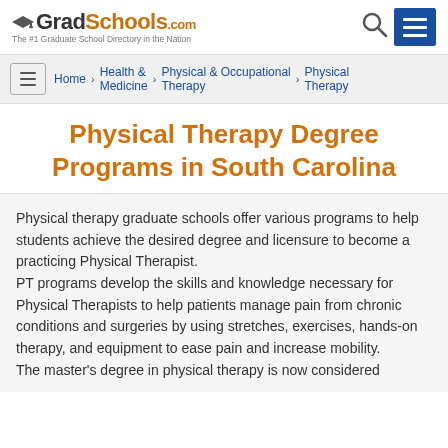[Figure (logo): GradSchools.com logo with graduation cap icon and tagline 'The #1 Graduate School Directory in the Nation']
Home > Health & Medicine > Physical & Occupational Therapy > Physical Therapy
Physical Therapy Degree Programs in South Carolina
Physical therapy graduate schools offer various programs to help students achieve the desired degree and licensure to become a practicing Physical Therapist.
PT programs develop the skills and knowledge necessary for Physical Therapists to help patients manage pain from chronic conditions and surgeries by using stretches, exercises, hands-on therapy, and equipment to ease pain and increase mobility.
The master's degree in physical therapy is now considered